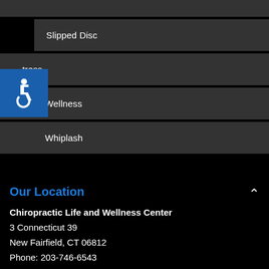Slipped Disc
Stress
Wellness
Whiplash
Our Location
Chiropractic Life and Wellness Center
3 Connecticut 39
New Fairfield, CT 06812
Phone: 203-746-6543
Map and Directions